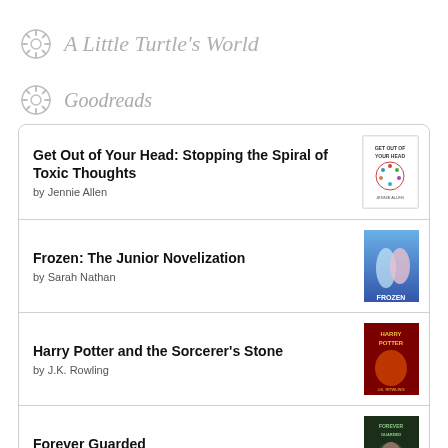A Little Turtle's World
Goodreads
Get Out of Your Head: Stopping the Spiral of Toxic Thoughts by Jennie Allen
Frozen: The Junior Novelization by Sarah Nathan
Harry Potter and the Sorcerer's Stone by J.K. Rowling
Forever Guarded by Kathleen Brooks